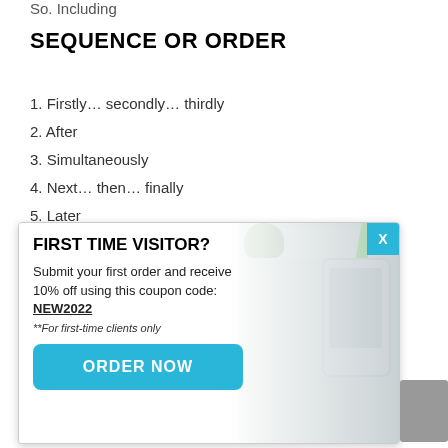So. Including
SEQUENCE OR ORDER
1. Firstly… secondly… thirdly
2. After
3. Simultaneously
4. Next… then… finally
5. Later
[Figure (screenshot): Popup advertisement overlay showing 'FIRST TIME VISITOR?' with a 10% off coupon code NEW2022 for first-time clients, an ORDER NOW button, and a close X button. Background shows a desk with keyboard, phone, and plant.]